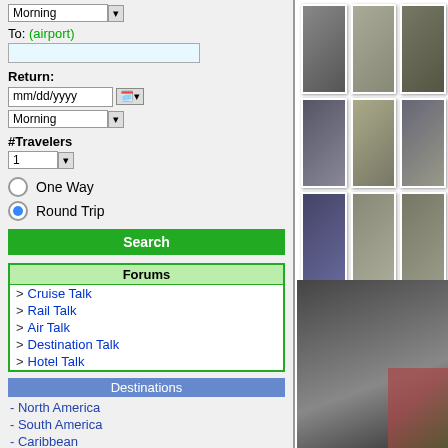Morning ▾
To: (airport)
Return:
mm/dd/yyyy
Morning ▾
#Travelers
1 ▾
One Way
Round Trip
Search
Forums
> Cruise Talk
> Rail Talk
> Air Talk
> Destination Talk
> Hotel Talk
Destinations
- North America
- South America
- Caribbean
- Central America
- Europe
- Middle East
[Figure (photo): Grid of 9 thumbnail travel photos showing airport/rail/hotel interiors]
[Figure (photo): Large bottom photo showing rainy train window view with building outside]